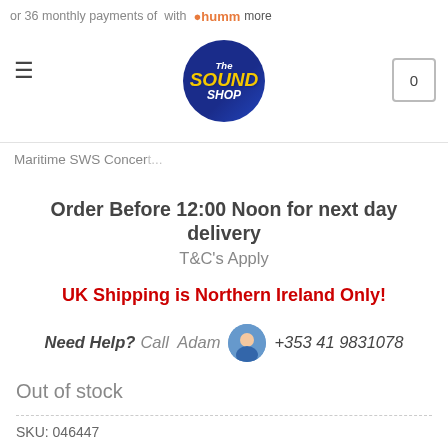or 36 monthly payments of … with humm more
[Figure (logo): The Sound Shop circular logo with blue background and yellow text]
Maritime SWS Concert...
Order Before 12:00 Noon for next day delivery
T&C's Apply
UK Shipping is Northern Ireland Only!
Need Help? Call Adam +353 41 9831078
Out of stock
SKU: 046447
Category: Seagull
Tags: acoustic, concert, guitar, solid, pickup, seagull, maritime,